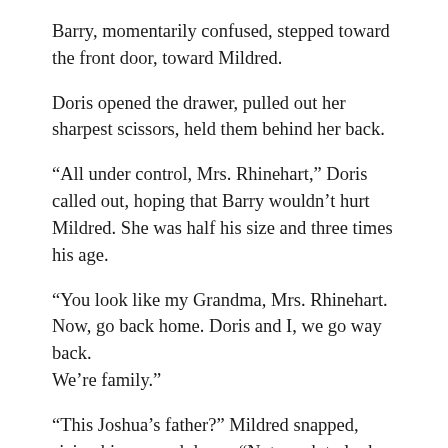Barry, momentarily confused, stepped toward the front door, toward Mildred.
Doris opened the drawer, pulled out her sharpest scissors, held them behind her back.
“All under control, Mrs. Rhinehart,” Doris called out, hoping that Barry wouldn’t hurt Mildred. She was half his size and three times his age.
“You look like my Grandma, Mrs. Rhinehart. Now, go back home. Doris and I, we go way back. We’re family.”
“This Joshua’s father?” Mildred snapped, sizing him up and down. “Not much to look at.” She shoved her hand into her housedress pocket, tried to remember which button was preset to call 911. Holding her trembling hand as still as she could, she pressed all of them.
“Ma’am…